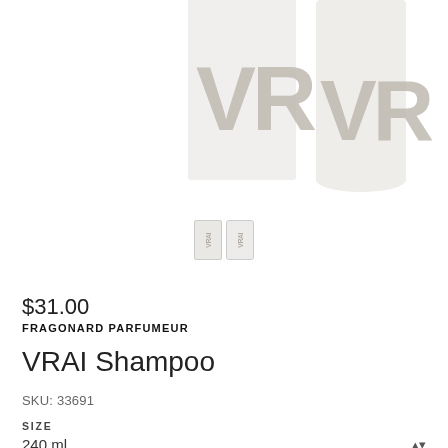[Figure (photo): Two white VRAI product bottles/packages side by side, partially cropped at top, with a small thumbnail row below showing two mini versions of the products]
$31.00
FRAGONARD PARFUMEUR
VRAI Shampoo
SKU: 33691
SIZE
240 ml